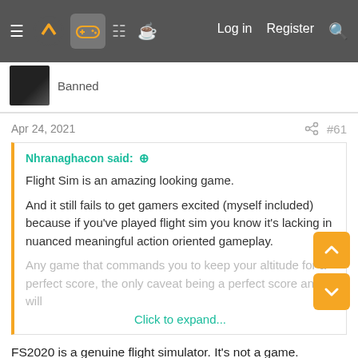Navigation bar with logo, gamepad icon, forum icons, Log in, Register, Search
Banned
Apr 24, 2021  #61
Nhranaghacon said: ⊕

Flight Sim is an amazing looking game.

And it still fails to get gamers excited (myself included) because if you've played flight sim you know it's lacking in nuanced meaningful action oriented gameplay.

Any game that commands you to keep your altitude for a perfect score, the only caveat being a perfect score and will
Click to expand...
FS2020 is a genuine flight simulator. It's not a game.

I'm currently studying for my pilot's license and the value is through the roof for what it was designed to do.

As you said, it's not a game so people won't view it as one -